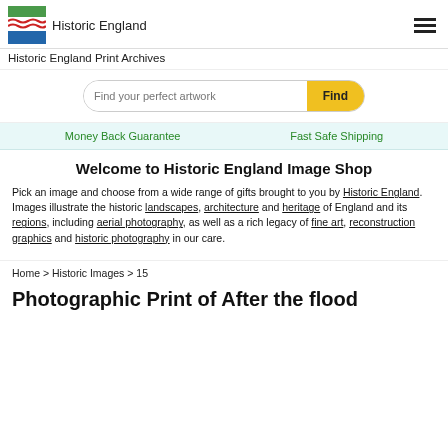Historic England
Historic England Print Archives
Find your perfect artwork  Find
Money Back Guarantee   Fast Safe Shipping
Welcome to Historic England Image Shop
Pick an image and choose from a wide range of gifts brought to you by Historic England. Images illustrate the historic landscapes, architecture and heritage of England and its regions, including aerial photography, as well as a rich legacy of fine art, reconstruction graphics and historic photography in our care.
Home > Historic Images > 15
Photographic Print of After the flood